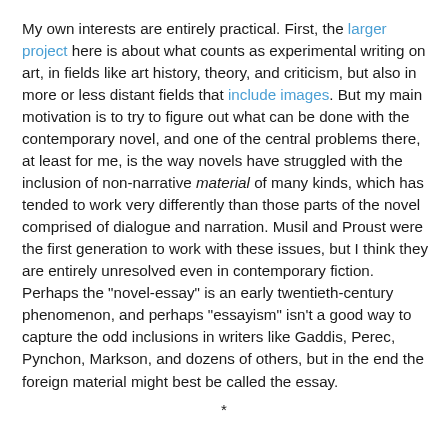My own interests are entirely practical. First, the larger project here is about what counts as experimental writing on art, in fields like art history, theory, and criticism, but also in more or less distant fields that include images. But my main motivation is to try to figure out what can be done with the contemporary novel, and one of the central problems there, at least for me, is the way novels have struggled with the inclusion of non-narrative material of many kinds, which has tended to work very differently than those parts of the novel comprised of dialogue and narration. Musil and Proust were the first generation to work with these issues, but I think they are entirely unresolved even in contemporary fiction. Perhaps the "novel-essay" is an early twentieth-century phenomenon, and perhaps "essayism" isn't a good way to capture the odd inclusions in writers like Gaddis, Perec, Pynchon, Markson, and dozens of others, but in the end the foreign material might best be called the essay.
*